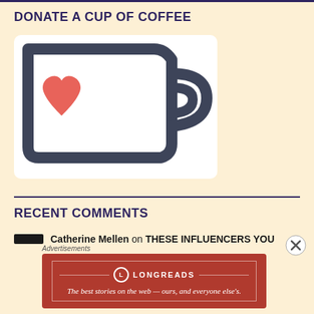DONATE A CUP OF COFFEE
[Figure (logo): Ko-fi style coffee mug icon with a red heart inside and a 'D' shaped handle, thick dark outline on white background]
RECENT COMMENTS
Catherine Mellen on THESE INFLUENCERS YOU
[Figure (infographic): Longreads advertisement banner: red background with 'LONGREADS' logo and tagline 'The best stories on the web — ours, and everyone else's.']